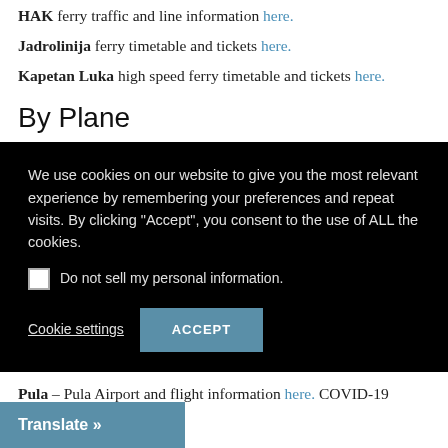HAK ferry traffic and line information here.
Jadrolinija ferry timetable and tickets here.
Kapetan Luka high speed ferry timetable and tickets here.
By Plane
[Figure (screenshot): Cookie consent popup with black background. Text: 'We use cookies on our website to give you the most relevant experience by remembering your preferences and repeat visits. By clicking "Accept", you consent to the use of ALL the cookies.' Checkbox: 'Do not sell my personal information.' Buttons: 'Cookie settings' (underlined) and 'ACCEPT' (blue button).]
Pula – Pula Airport and flight information here. COVID-19 testing here.
Rijeka – Rijeka Airport and flight information here. COVID-19 testing (in Croatian and English) here.
... and flight information here. COVID-19